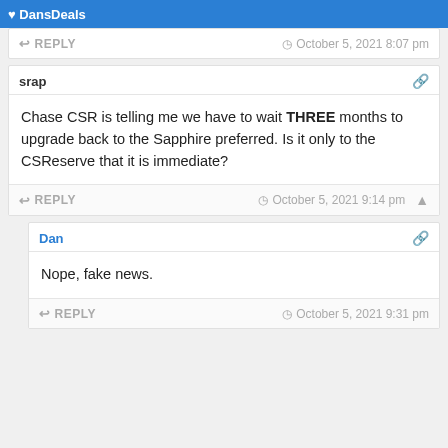DansDeals
REPLY   October 5, 2021 8:07 pm
srap
Chase CSR is telling me we have to wait THREE months to upgrade back to the Sapphire preferred. Is it only to the CSReserve that it is immediate?
REPLY   October 5, 2021 9:14 pm
Dan
Nope, fake news.
REPLY   October 5, 2021 9:31 pm